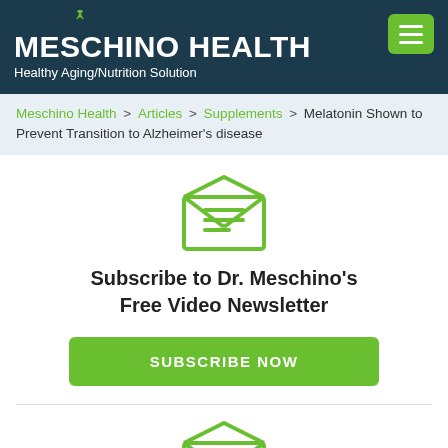MESCHINO HEALTH — Healthy Aging/Nutrition Solution
Meschino Health > Articles > Supplements > Melatonin Shown to Prevent Transition to Alzheimer's disease
[Figure (illustration): Green envelope icon with letter inside]
Subscribe to Dr. Meschino's Free Video Newsletter
SUBSCRIBE NOW
[Figure (illustration): Green envelope icon with letter inside (second instance)]